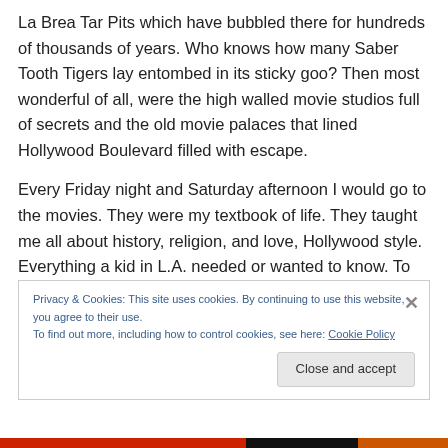La Brea Tar Pits which have bubbled there for hundreds of thousands of years. Who knows how many Saber Tooth Tigers lay entombed in its sticky goo?  Then most wonderful of all, were the high walled movie studios full of secrets and the old movie palaces that lined Hollywood Boulevard filled with escape.
Every Friday night and Saturday afternoon I would go to the movies. They were my textbook of life. They taught me all about history, religion, and love, Hollywood style. Everything a kid in L.A. needed or wanted to know. To me
Privacy & Cookies: This site uses cookies. By continuing to use this website, you agree to their use.
To find out more, including how to control cookies, see here: Cookie Policy
Close and accept